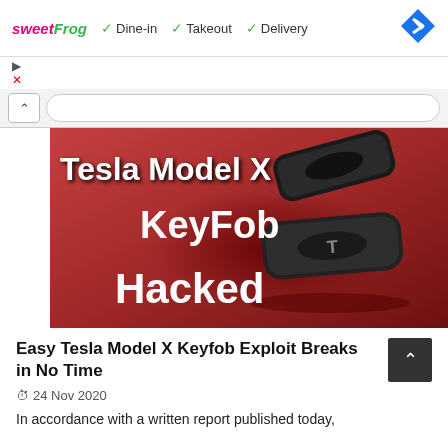[Figure (screenshot): SweetFrog advertisement banner showing Dine-in, Takeout, Delivery options with checkmarks and a navigation diamond icon]
[Figure (photo): Hero image showing two black Tesla Model X key fobs on a red background with white text overlay reading 'Tesla Model X KeyFob Hacked']
Easy Tesla Model X Keyfob Exploit Breaks in No Time
24 Nov 2020
In accordance with a written report published today,